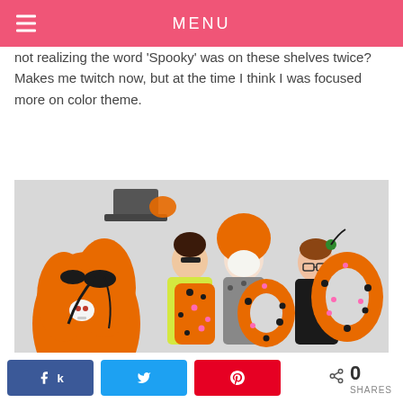MENU
not realizing the word 'Spooky' was on these shelves twice?  Makes me twitch now, but at the time I think I was focused more on color theme.
[Figure (photo): Three women in Halloween costumes holding large orange polka-dot BOO letters, standing next to a decorated orange Halloween tree with skulls and black ribbons.]
0 SHARES